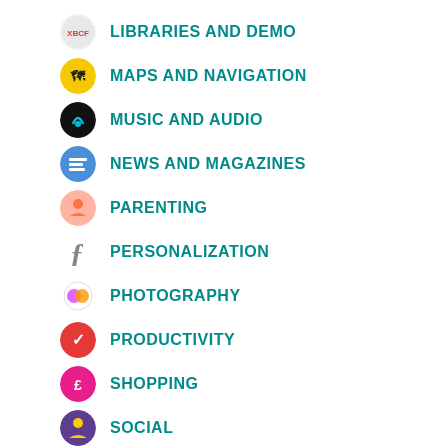LIBRARIES AND DEMO
MAPS AND NAVIGATION
MUSIC AND AUDIO
NEWS AND MAGAZINES
PARENTING
PERSONALIZATION
PHOTOGRAPHY
PRODUCTIVITY
SHOPPING
SOCIAL
SPORTS
TOOLS